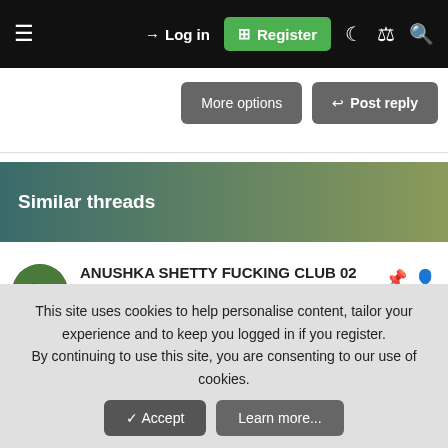≡  → Log in  ⊞ Register  ☽  ❑  🔍
More options  ↩ Post reply
Similar threads
ANUSHKA SHETTY FUCKING CLUB 02
arn43 · Indian Stars
Replies: 75 · Aug 13, 2022
Anushka Shetty Stills
T46online · Indian Stars
Replies: 8 · Jul 6, 2022
This site uses cookies to help personalise content, tailor your experience and to keep you logged in if you register.
By continuing to use this site, you are consenting to our use of cookies.
✓ Accept  Learn more...